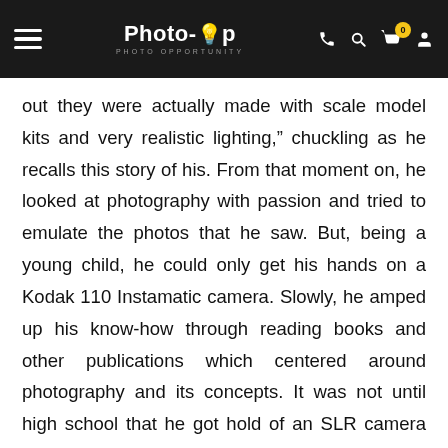Photo-op PHOTO OPPORTUNITY
out they were actually made with scale model kits and very realistic lighting," chuckling as he recalls this story of his. From that moment on, he looked at photography with passion and tried to emulate the photos that he saw. But, being a young child, he could only get his hands on a Kodak 110 Instamatic camera. Slowly, he amped up his know-how through reading books and other publications which centered around photography and its concepts. It was not until high school that he got hold of an SLR camera with a proper light meter. And then...